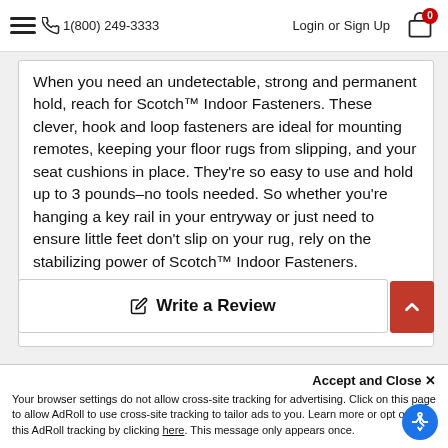≡  ☎ 1(800) 249-3333   Login  or  Sign Up  🛒 0
When you need an undetectable, strong and permanent hold, reach for Scotch™ Indoor Fasteners. These clever, hook and loop fasteners are ideal for mounting remotes, keeping your floor rugs from slipping, and your seat cushions in place. They're so easy to use and hold up to 3 pounds–no tools needed. So whether you're hanging a key rail in your entryway or just need to ensure little feet don't slip on your rug, rely on the stabilizing power of Scotch™ Indoor Fasteners.
UPC #:  00051141934051, Part #:  RF4710, SKU:  7100093873
✎  Write a Review
Accept and Close ✕
Your browser settings do not allow cross-site tracking for advertising. Click on this page to allow AdRoll to use cross-site tracking to tailor ads to you. Learn more or opt out of this AdRoll tracking by clicking here. This message only appears once.